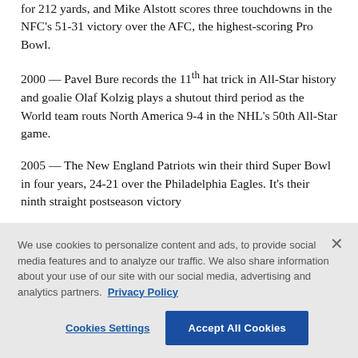for 212 yards, and Mike Alstott scores three touchdowns in the NFC's 51-31 victory over the AFC, the highest-scoring Pro Bowl.
2000 — Pavel Bure records the 11th hat trick in All-Star history and goalie Olaf Kolzig plays a shutout third period as the World team routs North America 9-4 in the NHL's 50th All-Star game.
2005 — The New England Patriots win their third Super Bowl in four years, 24-21 over the Philadelphia Eagles. It's their ninth straight postseason victory
We use cookies to personalize content and ads, to provide social media features and to analyze our traffic. We also share information about your use of our site with our social media, advertising and analytics partners. Privacy Policy
Cookies Settings
Accept All Cookies